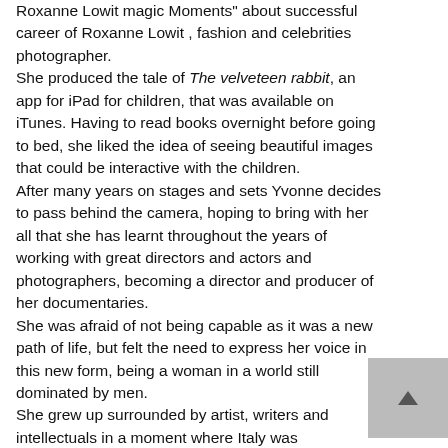Roxanne Lowit magic Moments" about successful career of Roxanne Lowit , fashion and celebrities photographer. She produced the tale of The velveteen rabbit, an app for iPad for children, that was available on iTunes. Having to read books overnight before going to bed, she liked the idea of seeing beautiful images that could be interactive with the children. After many years on stages and sets Yvonne decides to pass behind the camera, hoping to bring with her all that she has learnt throughout the years of working with great directors and actors and photographers, becoming a director and producer of her documentaries. She was afraid of not being capable as it was a new path of life, but felt the need to express her voice in this new form, being a woman in a world still dominated by men. She grew up surrounded by artist, writers and intellectuals in a moment where Italy was